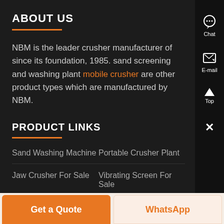ABOUT US
NBM is the leader crusher manufacturer of since its foundation, 1985. sand screening and washing plant mobile crusher are other product types which are manufactured by NBM.
PRODUCT LINKS
Sand Washing Machine
Portable Crusher Plant
Jaw Crusher For Sale
Vibrating Screen For Sale